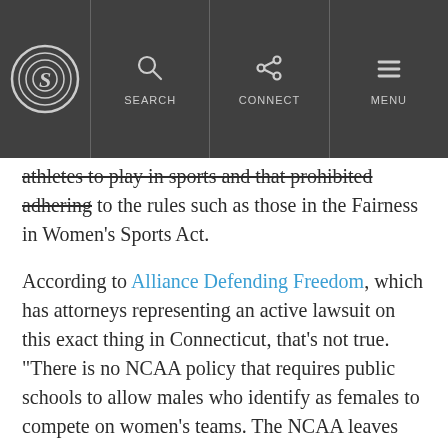S [logo] | SEARCH | CONNECT | MENU
athletes to play in sports and that prohibited adhering to the rules such as those in the Fairness in Women's Sports Act.
According to Alliance Defending Freedom, which has attorneys representing an active lawsuit on this exact thing in Connecticut, that’s not true. “There is no NCAA policy that requires public schools to allow males who identify as females to compete on women’s teams. The NCAA leaves that up to individual states,” the Alliance Defending Freedom website states.
Noem also said if she signed the bill she’d certainly be sued. Not only that, but she was convinced she’d lose